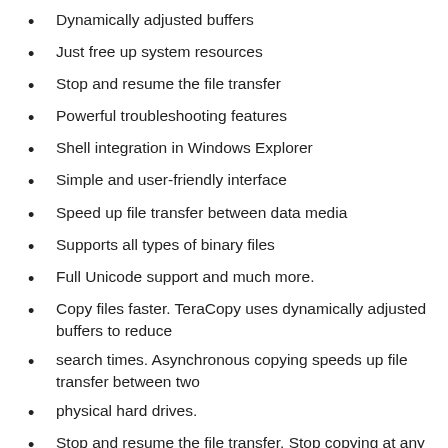Dynamically adjusted buffers
Just free up system resources
Stop and resume the file transfer
Powerful troubleshooting features
Shell integration in Windows Explorer
Simple and user-friendly interface
Speed up file transfer between data media
Supports all types of binary files
Full Unicode support and much more.
Copy files faster. TeraCopy uses dynamically adjusted buffers to reduce
search times. Asynchronous copying speeds up file transfer between two
physical hard drives.
Stop and resume the file transfer. Stop copying at any time to free up the system
resources and continue with one click.
Troubleshooting. In the event of a copy error,